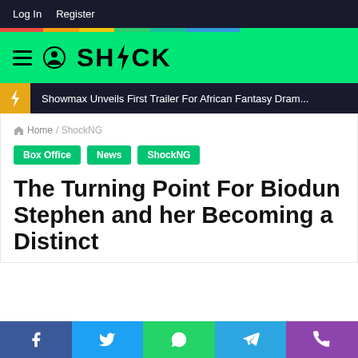Log In  Register
[Figure (logo): SHOCK logo with lightning bolt on green background, with hamburger menu and user icon]
Showmax Unveils First Trailer For African Fantasy Dram...
Home / ShockNG
Box Office
News
ShockNG
The Turning Point For Biodun Stephen and her Becoming a Distinct
[Figure (infographic): Social share bar with Facebook, Twitter, WhatsApp, Telegram, and phone icons]